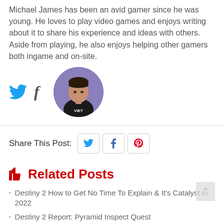Michael James has been an avid gamer since he was young. He loves to play video games and enjoys writing about it to share his experience and ideas with others. Aside from playing, he also enjoys helping other gamers both ingame and on-site.
[Figure (photo): Author profile photo of Michael James in a circular crop, wearing a dark shirt with 'VIET' text, with Twitter and Facebook social icons to the left]
Share This Post:
[Figure (infographic): Share This Post section with Twitter, Facebook, and Pinterest icon buttons]
Related Posts
Destiny 2 How to Get No Time To Explain & It's Catalyst in 2022
Destiny 2 Report: Pyramid Inspect Quest